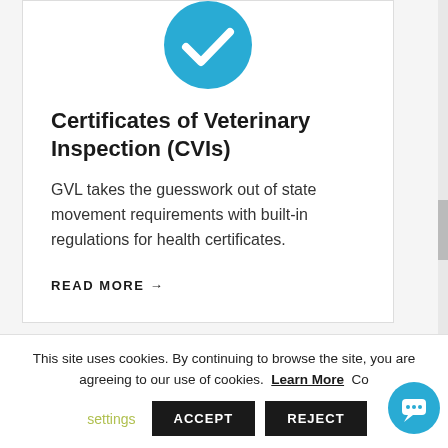[Figure (illustration): Blue circle with white checkmark icon]
Certificates of Veterinary Inspection (CVIs)
GVL takes the guesswork out of state movement requirements with built-in regulations for health certificates.
READ MORE →
This site uses cookies. By continuing to browse the site, you are agreeing to our use of cookies. Learn More Co...
settings   ACCEPT   REJECT